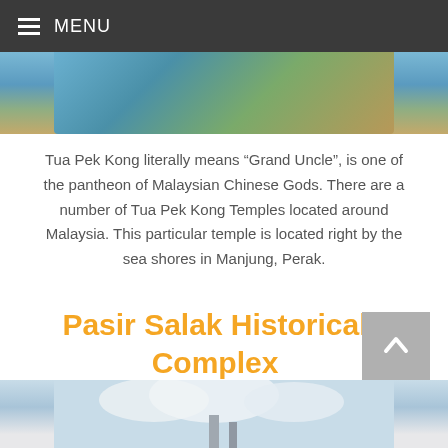MENU
[Figure (photo): Top portion of a scenic photo, partially cropped, showing water and trees/nature scene]
Tua Pek Kong literally means “Grand Uncle”, is one of the pantheon of Malaysian Chinese Gods. There are a number of Tua Pek Kong Temples located around Malaysia. This particular temple is located right by the sea shores in Manjung, Perak.
Pasir Salak Historical Complex
[Figure (photo): Bottom portion of a photo showing buildings or structures against a cloudy sky, partially cropped]